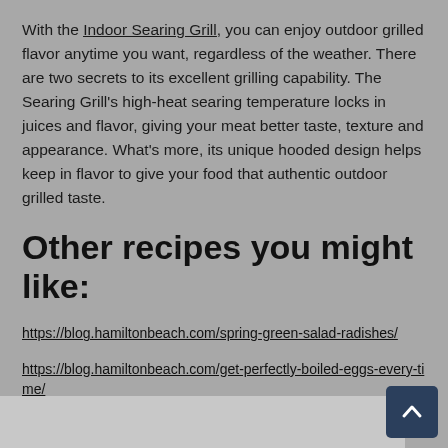With the Indoor Searing Grill, you can enjoy outdoor grilled flavor anytime you want, regardless of the weather. There are two secrets to its excellent grilling capability. The Searing Grill's high-heat searing temperature locks in juices and flavor, giving your meat better taste, texture and appearance. What's more, its unique hooded design helps keep in flavor to give your food that authentic outdoor grilled taste.
Other recipes you might like:
https://blog.hamiltonbeach.com/spring-green-salad-radishes/
https://blog.hamiltonbeach.com/get-perfectly-boiled-eggs-every-time/
[Figure (photo): Partial bottom strip of an image, cut off at the bottom of the page]